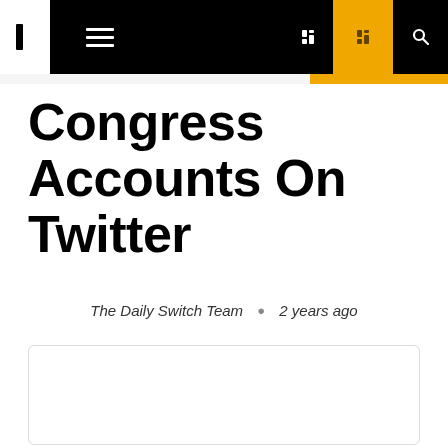Navigation bar with hamburger menu and icons
Congress Accounts On Twitter
The Daily Switch Team · 2 years ago
[Figure (other): Embedded content box / article embed placeholder with rounded border]